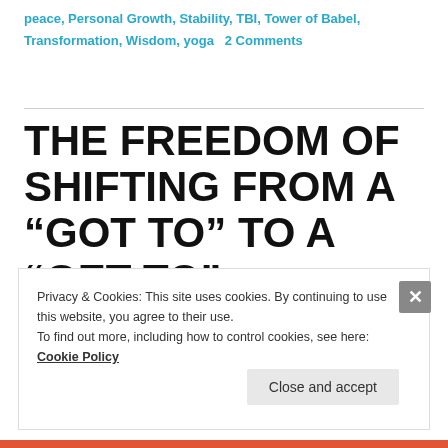peace, Personal Growth, Stability, TBI, Tower of Babel, Transformation, Wisdom, yoga   2 Comments
THE FREEDOM OF SHIFTING FROM A “GOT TO” TO A “GET TO” MENTALITY
Privacy & Cookies: This site uses cookies. By continuing to use this website, you agree to their use. To find out more, including how to control cookies, see here: Cookie Policy